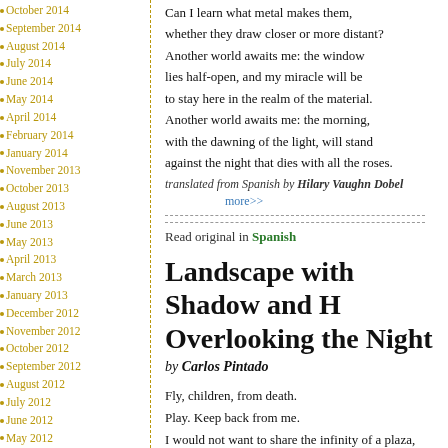October 2014
September 2014
August 2014
July 2014
June 2014
May 2014
April 2014
February 2014
January 2014
November 2013
October 2013
August 2013
June 2013
May 2013
April 2013
March 2013
January 2013
December 2012
November 2012
October 2012
September 2012
August 2012
July 2012
June 2012
May 2012
Can I learn what metal makes them, whether they draw closer or more distant?
Another world awaits me: the window
lies half-open, and my miracle will be
to stay here in the realm of the material.
Another world awaits me: the morning,
with the dawning of the light, will stand
against the night that dies with all the roses.
translated from Spanish by Hilary Vaughn Dobel
more>>
Read original in Spanish
Landscape with Shadow and H Overlooking the Night
by Carlos Pintado
Fly, children, from death.
Play. Keep back from me.
I would not want to share the infinity of a plaza,
nor the laughter that unfurls its most coveted rose
into the air.
I am sick with sick things.
I am a darkened house
that overlooks the night, a house
where none dwell but the dead.